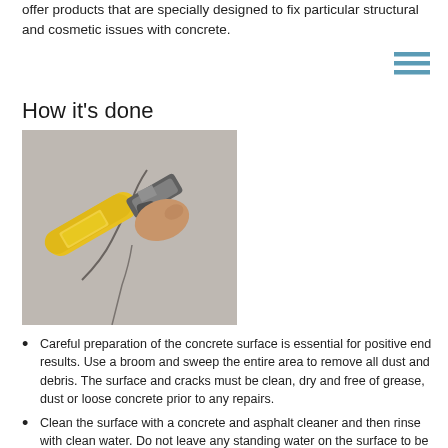offer products that are specially designed to fix particular structural and cosmetic issues with concrete.
How it's done
[Figure (photo): A person using a yellow caulk gun to apply sealant into a crack on a concrete surface.]
Careful preparation of the concrete surface is essential for positive end results. Use a broom and sweep the entire area to remove all dust and debris. The surface and cracks must be clean, dry and free of grease, dust or loose concrete prior to any repairs.
Clean the surface with a concrete and asphalt cleaner and then rinse with clean water. Do not leave any standing water on the surface to be repaired
For minor horizontal cracks or fractures (1/8 inch to 1/2 inch